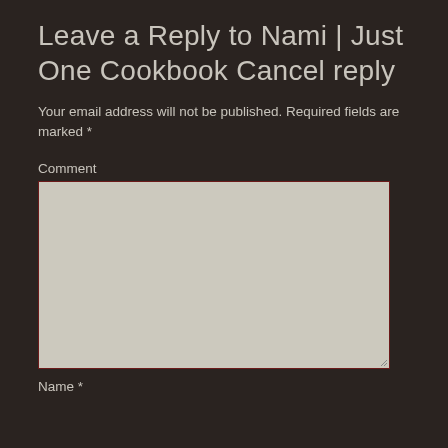Leave a Reply to Nami | Just One Cookbook Cancel reply
Your email address will not be published. Required fields are marked *
Comment
Name *